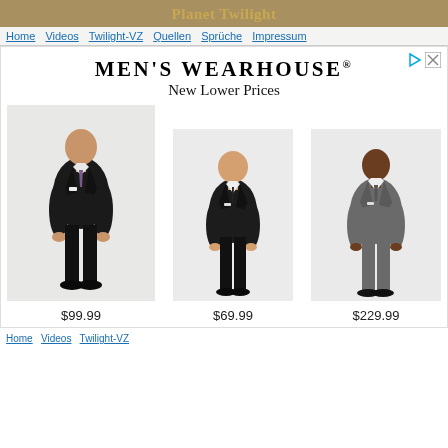Planet Twilight
Home  Videos  Twilight-VZ  Quellen  Sprüche  Impressum
[Figure (photo): Men's Wearhouse advertisement showing three men in suits with prices $99.99, $69.99, and $229.99. Header reads MEN'S WEARHOUSE® New Lower Prices.]
Home Videos Twilight-VZ Quellen Sprüche Impressum